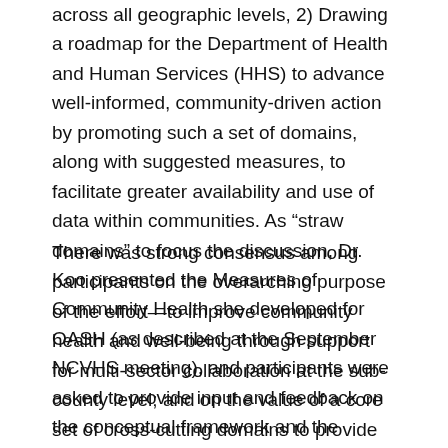across all geographic levels, 2) Drawing a roadmap for the Department of Health and Human Services (HHS) to advance well-informed, community-driven action by promoting such a set of domains, along with suggested measures, to facilitate greater availability and use of data within communities. As “straw domains” to focus the discussion, Dr. Koo presented the Measures of Community Health she developed for OASH (as described at the September NCVHS meeting), and participants were asked to provide input and feedback on the conceptual framework and the domains.
There was strong consensus among participants on the overarching purpose of the effort—to improve community health and well-being through support for multi-sector collaboration at the sub-county level; and on the value of a core set of cross-cutting domains to provide a common language, help communities assess their status, and help different sectors see where to focus for collective impact.